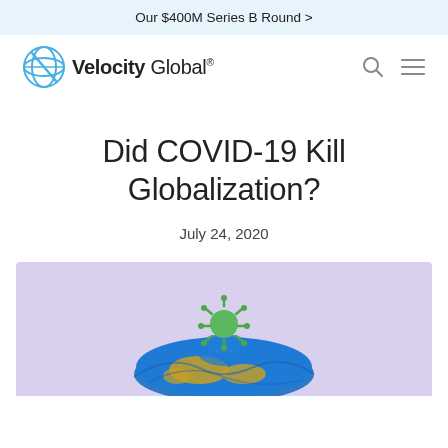Our $400M Series B Round >
[Figure (logo): Velocity Global logo with blue circular icon and company name]
Did COVID-19 Kill Globalization?
July 24, 2020
[Figure (illustration): A deflated globe-patterned ball with a green COVID-19 coronavirus spike on top, set against a lavender/purple background]